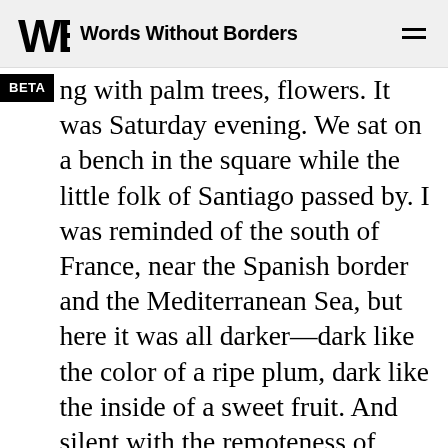Words Without Borders
ng with palm trees, flowers. It was Saturday evening. We sat on a bench in the square while the little folk of Santiago passed by. I was reminded of the south of France, near the Spanish border and the Mediterranean Sea, but here it was all darker—dark like the color of a ripe plum, dark like the inside of a sweet fruit. And silent with the remoteness of places lost, misplaced.
But there were other reasons for my excitement. In that procession under the palms I was struck by the splendid faces of girls, barely yet developed, delicate, colorful, nimble, their eyes and teeth fleetingly sparkling, the waviness of